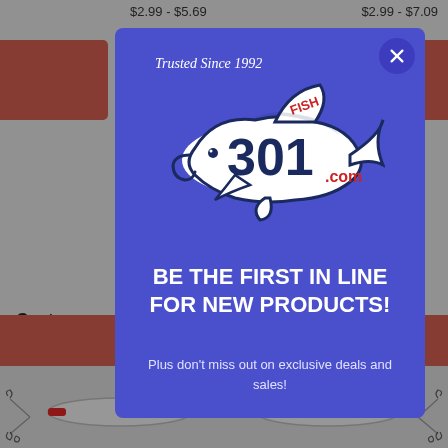$2.99 - $5.69
$2.99 - $7.09
Custo
[Figure (screenshot): Modal popup on a fishing supply website (fish301.com) with blue background, showing the fish301.com shark logo with 'Trusted Since 1992' text, a close button (X), headline 'BE THE FIRST IN LINE FOR NEW PRODUCTS!' and subtext 'Plus don't miss out on exclusive deals and sales!']
BE THE FIRST IN LINE FOR NEW PRODUCTS!
Plus don't miss out on exclusive deals and sales!